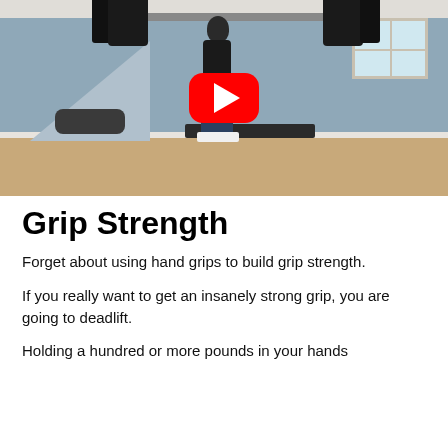[Figure (screenshot): YouTube video thumbnail showing a person performing a deadlift in a home gym/basement setting. The person is standing holding a barbell loaded with large black weight plates. A red YouTube play button overlay is centered on the image. The room has gray walls, wood-colored flooring, a staircase in the background, and a window on the upper right.]
Grip Strength
Forget about using hand grips to build grip strength.
If you really want to get an insanely strong grip, you are going to deadlift.
Holding a hundred or more pounds in your hands